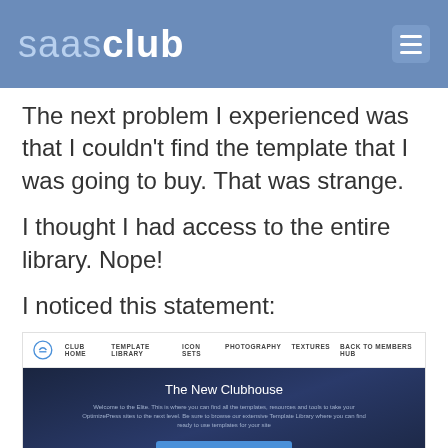saasclub
The next problem I experienced was that I couldn't find the template that I was going to buy. That was strange.
I thought I had access to the entire library. Nope!
I noticed this statement:
[Figure (screenshot): Screenshot of a website called 'The New Clubhouse' with navigation links: CLUB HOME, TEMPLATE LIBRARY, ICON SETS, PHOTOGRAPHY, TEXTURES, BACK TO MEMBERS HUB. Body shows dark blue background with title 'The New Clubhouse', descriptive text, and a blue 'Browse New Templates' button.]